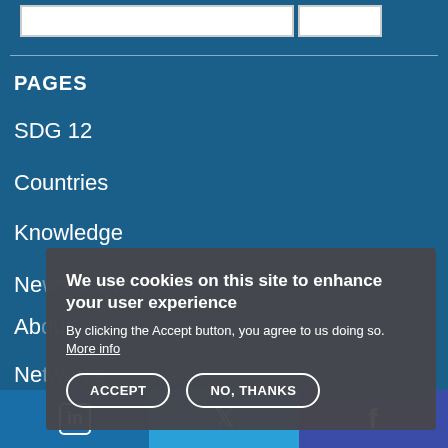PAGES
SDG 12
Countries
Knowledge
News & Events
About
Networks
PRO
We use cookies on this site to enhance your user experience
By clicking the Accept button, you agree to us doing so. More info
[Figure (screenshot): Website footer with LinkedIn, Twitter, and Facebook social media icons on colored backgrounds]